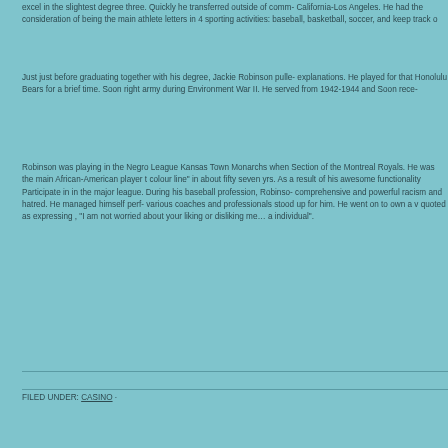excel in the slightest degree three. Quickly he transferred outside of comm- California-Los Angeles. He had the consideration of being the main athlete letters in 4 sporting activities: baseball, basketball, soccer, and keep track o
Just just before graduating together with his degree, Jackie Robinson pulle- explanations. He played for that Honolulu Bears for a brief time. Soon right army during Environment War II. He served from 1942-1944 and Soon rece-
Robinson was playing in the Negro League Kansas Town Monarchs when Section of the Montreal Royals. He was the main African-American player t colour line" in about fifty seven yrs. As a result of his awesome functionality Participate in in the major league. During his baseball profession, Robinso- comprehensive and powerful racism and hatred. He managed himself perf- various coaches and professionals stood up for him. He went on to own a v quoted as expressing , "I am not worried about your liking or disliking me... a individual".
FILED UNDER: CASINO ·